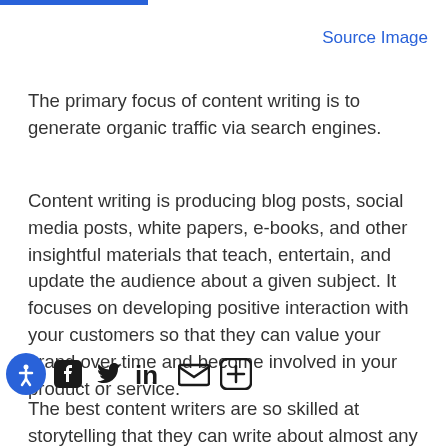Source Image
The primary focus of content writing is to generate organic traffic via search engines.
Content writing is producing blog posts, social media posts, white papers, e-books, and other insightful materials that teach, entertain, and update the audience about a given subject. It focuses on developing positive interaction with your customers so that they can value your brand over time and become involved in your product or service.
The best content writers are so skilled at storytelling that they can write about almost any...